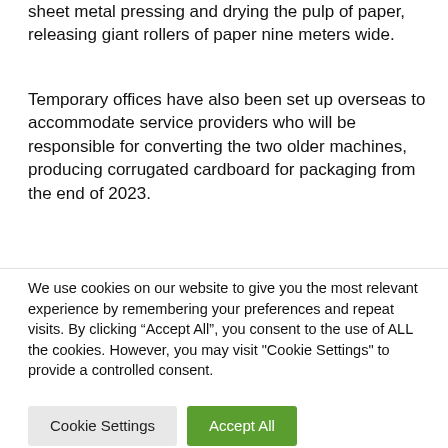sheet metal pressing and drying the pulp of paper, releasing giant rollers of paper nine meters wide.
Temporary offices have also been set up overseas to accommodate service providers who will be responsible for converting the two older machines, producing corrugated cardboard for packaging from the end of 2023.
We use cookies on our website to give you the most relevant experience by remembering your preferences and repeat visits. By clicking “Accept All”, you consent to the use of ALL the cookies. However, you may visit "Cookie Settings" to provide a controlled consent.